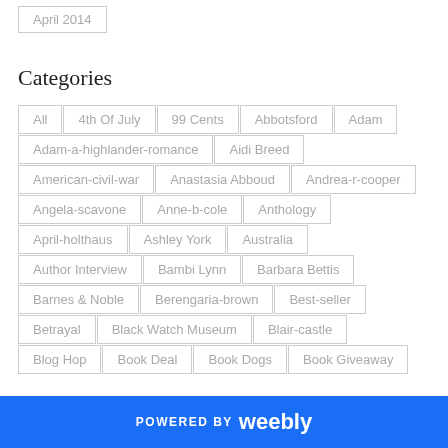April 2014
Categories
All
4th Of July
99 Cents
Abbotsford
Adam
Adam-a-highlander-romance
Aidi Breed
American-civil-war
Anastasia Abboud
Andrea-r-cooper
Angela-scavone
Anne-b-cole
Anthology
April-holthaus
Ashley York
Australia
Author Interview
Bambi Lynn
Barbara Bettis
Barnes & Noble
Berengaria-brown
Best-seller
Betrayal
Black Watch Museum
Blair-castle
Blog Hop
Book Deal
Book Dogs
Book Giveaway
POWERED BY weebly